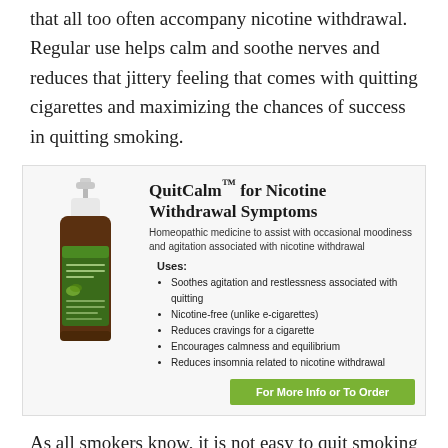that all too often accompany nicotine withdrawal. Regular use helps calm and soothe nerves and reduces that jittery feeling that comes with quitting cigarettes and maximizing the chances of success in quitting smoking.
[Figure (photo): Product image of QuitCalm Oral Spray bottle - a dark amber spray bottle with white pump cap and green label]
QuitCalm™ for Nicotine Withdrawal Symptoms
Homeopathic medicine to assist with occasional moodiness and agitation associated with nicotine withdrawal
Uses:
Soothes agitation and restlessness associated with quitting
Nicotine-free (unlike e-cigarettes)
Reduces cravings for a cigarette
Encourages calmness and equilibrium
Reduces insomnia related to nicotine withdrawal
For More Info or To Order
As all smokers know, it is not easy to quit smoking—experts have described it as being as difficult to quit as drugs like heroin or crack cocaine. Cigarettes are all around us, making it even harder to resist the temptation. Still, quitting IS